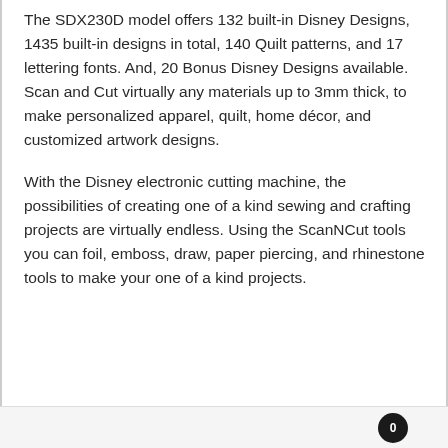The SDX230D model offers 132 built-in Disney Designs, 1435 built-in designs in total, 140 Quilt patterns, and 17 lettering fonts. And, 20 Bonus Disney Designs available. Scan and Cut virtually any materials up to 3mm thick, to make personalized apparel, quilt, home décor, and customized artwork designs.
With the Disney electronic cutting machine, the possibilities of creating one of a kind sewing and crafting projects are virtually endless. Using the ScanNCut tools you can foil, emboss, draw, paper piercing, and rhinestone tools to make your one of a kind projects.
0